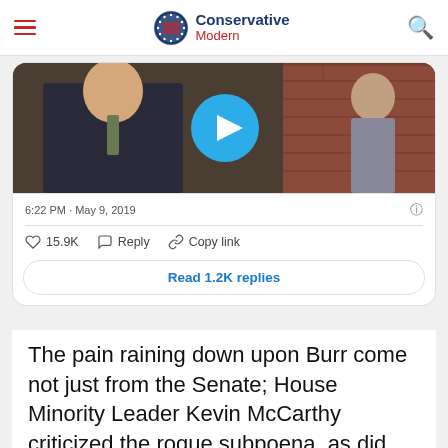Conservative Modern
[Figure (screenshot): Embedded tweet card showing a video thumbnail of a man in a suit with a play button overlay, timestamp '6:22 PM · May 9, 2019', like count 15.9K, Reply and Copy link actions, and a 'Read 1.2K replies' button]
The pain raining down upon Burr come not just from the Senate; House Minority Leader Kevin McCarthy criticized the rogue subpoena, as did House Intelligence Committee ranking